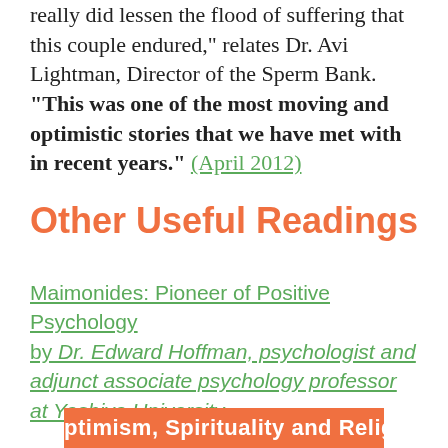really did lessen the flood of suffering that this couple endured," relates Dr. Avi Lightman, Director of the Sperm Bank. "This was one of the most moving and optimistic stories that we have met with in recent years." (April 2012)
Other Useful Readings
Maimonides: Pioneer of Positive Psychology by Dr. Edward Hoffman, psychologist and adjunct associate psychology professor at Yeshiva University.
[Figure (other): Orange banner at bottom, partially visible, with white text starting with 'Optimism, Spirituality and Religi...']